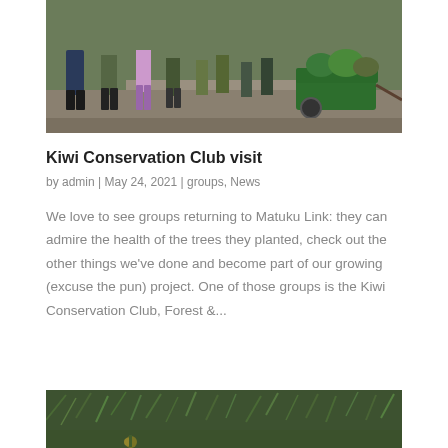[Figure (photo): Group of people in boots and outdoor clothing standing on a path with a green wheelbarrow full of plants]
Kiwi Conservation Club visit
by admin | May 24, 2021 | groups, News
We love to see groups returning to Matuku Link: they can admire the health of the trees they planted, check out the other things we've done and become part of our growing (excuse the pun) project. One of those groups is the Kiwi Conservation Club, Forest &...
[Figure (photo): Close-up of green grassy vegetation outdoors]